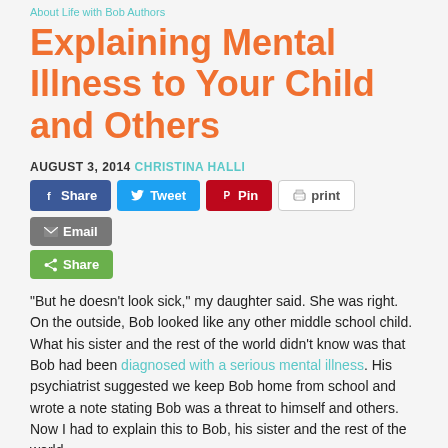About Life with Bob Authors
Explaining Mental Illness to Your Child and Others
AUGUST 3, 2014 CHRISTINA HALLI
[Figure (other): Social sharing buttons: Share (Facebook), Tweet (Twitter), Pin (Pinterest), print, Email, Share (green)]
"But he doesn't look sick," my daughter said. She was right. On the outside, Bob looked like any other middle school child. What his sister and the rest of the world didn't know was that Bob had been diagnosed with a serious mental illness. His psychiatrist suggested we keep Bob home from school and wrote a note stating Bob was a threat to himself and others. Now I had to explain this to Bob, his sister and the rest of the world.
Mental Illness in Children is Physical...